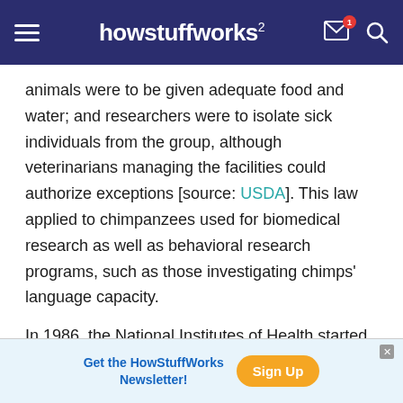howstuffworks
animals were to be given adequate food and water; and researchers were to isolate sick individuals from the group, although veterinarians managing the facilities could authorize exceptions [source: USDA]. This law applied to chimpanzees used for biomedical research as well as behavioral research programs, such as those investigating chimps' language capacity.
In 1986, the National Institutes of Health started the Chimpanzee Biomedical Research Programs to
Get the HowStuffWorks Newsletter! Sign Up